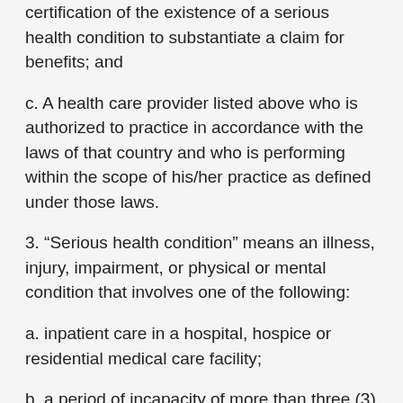certification of the existence of a serious health condition to substantiate a claim for benefits; and
c. A health care provider listed above who is authorized to practice in accordance with the laws of that country and who is performing within the scope of his/her practice as defined under those laws.
3. “Serious health condition” means an illness, injury, impairment, or physical or mental condition that involves one of the following:
a. inpatient care in a hospital, hospice or residential medical care facility;
b. a period of incapacity of more than three (3) consecutive days that also involves continuing treatment by a health care provider; continuing treatment means a period of incapacity of more than health